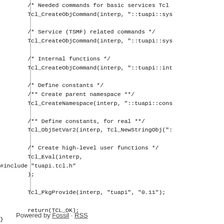/* Needed commands for basic services Tcl_CreateObjCommand(interp, "::tuapi::sys" /* Service (TSMF) related commands */ Tcl_CreateObjCommand(interp, "::tuapi::sys" /* Internal functions */ Tcl_CreateObjCommand(interp, "::tuapi::int" /* Define constants */ /** Create parent namespace **/ Tcl_CreateNamespace(interp, "::tuapi::cons" /** Define constants, for real **/ Tcl_ObjSetVar2(interp, Tcl_NewStringObj(": /* Create high-level user functions */ Tcl_Eval(interp, #include "tuapi.tcl.h" ); Tcl_PkgProvide(interp, "tuapi", "0.11"); return(TCL_OK); }
Powered by Fossil · RSS